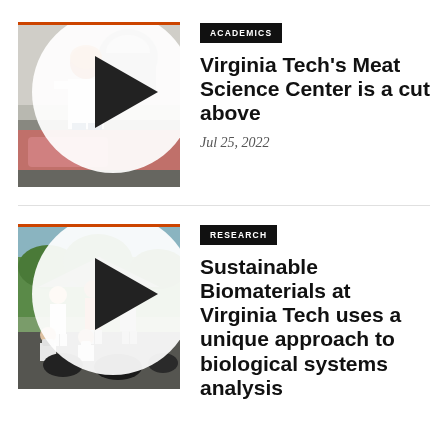[Figure (photo): Worker in hairnet operating meat processing equipment in a commercial kitchen setting]
ACADEMICS
Virginia Tech's Meat Science Center is a cut above
Jul 25, 2022
[Figure (photo): Group of researchers outdoors wearing protective white suits and masks, posing with black bags on pavement]
RESEARCH
Sustainable Biomaterials at Virginia Tech uses a unique approach to biological systems analysis